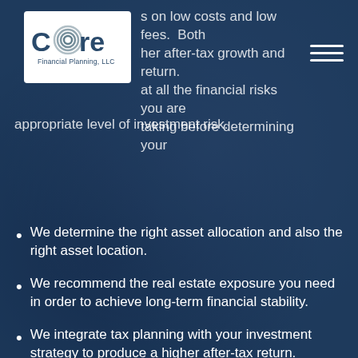[Figure (logo): Core Financial Planning, LLC logo — white background with circular rings forming the letter O in 'Core', company name in dark text]
s on low costs and low fees.  Both her after-tax growth and return. at all the financial risks you are taking before determining your appropriate level of investment risk.
We determine the right asset allocation and also the right asset location.
We recommend the real estate exposure you need in order to achieve long-term financial stability.
We integrate tax planning with your investment strategy to produce a higher after-tax return.
We offer the option of using an Institutional Custodian (Shareholders Service Group – SSG) versus a Retail